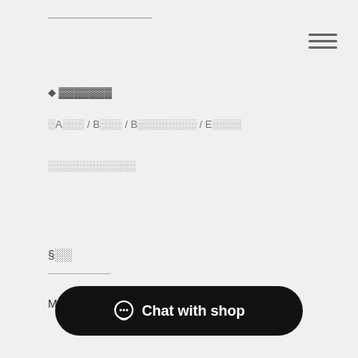◆ ░░░░░░░
░A░░░ / B░░░ / B░░░░░░░░ / E░░░░
░░░░░░░░░░░░
§░░
MDF 4mm (░░)
Chat with shop